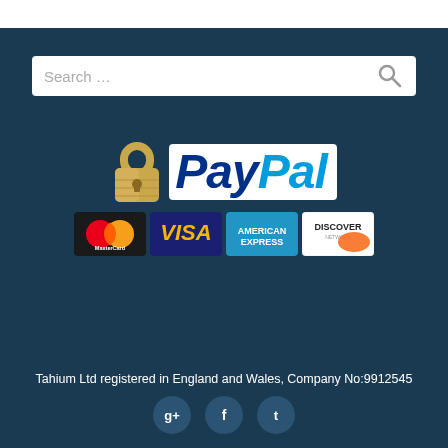[Figure (screenshot): Search bar with placeholder text 'Search ...' and a magnifying glass icon on the right, white background, rounded rectangle]
[Figure (logo): Payment section: padlock icon next to PayPal logo (italic bold blue text), below it four payment card logos: MasterCard, Visa, American Express, Discover Network]
Tahium Ltd registered in England and Wales, Company No:9912545
[Figure (infographic): Three circular social media icon buttons: Google+, Facebook, Twitter]